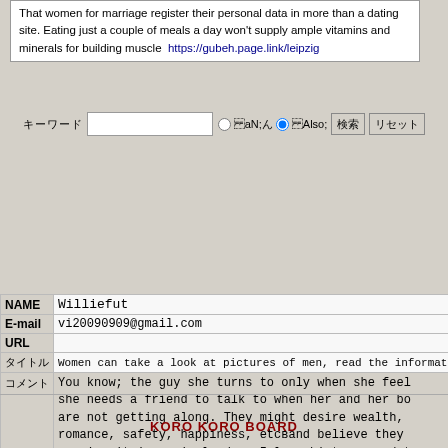That women for marriage register their personal data in more than a dating site. Eating just a couple of meals a day won't supply ample vitamins and minerals for building muscle  https://gubeh.page.link/leipzig
Search row with Japanese labels, text input, radio buttons, and buttons
| Field | Value |
| --- | --- |
| NAME | Williefut |
| E-mail | vi20090909@gmail.com |
| URL |  |
| タイトル | Women can take a look at pictures of men, read the information th |
| コメント | You know; the guy she turns to only when she feel she needs a friend to talk to when her and her bo are not getting along. They might desire wealth, romance, safety, happiness, etcвand believe they receive it in a single day. I love history   date Washington DC is a chance you do not need to cros To choose the best free dating sites, you can sea Google, Yahoo, MSN, or other major search engines Although TV programmes like Sex in the City and Desperate Housewives have helped to change people |
KORO KORO BOARD